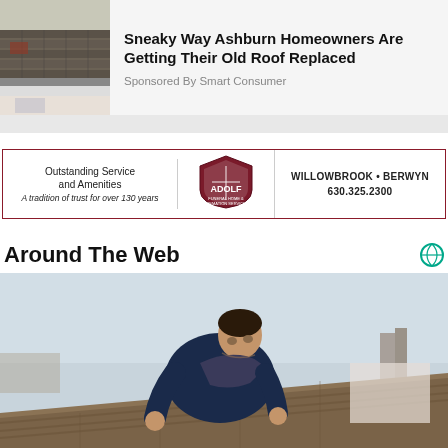[Figure (photo): Photo of a roof with shingles and gutters, partially visible, appearing worn]
Sneaky Way Ashburn Homeowners Are Getting Their Old Roof Replaced
Sponsored By Smart Consumer
[Figure (logo): Adolf Funeral Home & Cremation Services advertisement banner with text: Outstanding Service and Amenities, A tradition of trust for over 130 years, WILLOWBROOK • BERWYN, 630.325.2300]
Around The Web
[Figure (photo): Photo of a male worker leaning over and working on a roof, with buildings visible in the background under a pale sky]